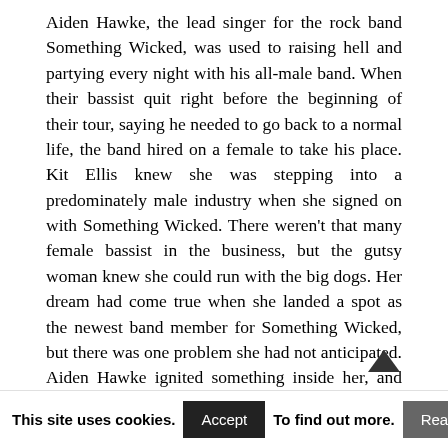Aiden Hawke, the lead singer for the rock band Something Wicked, was used to raising hell and partying every night with his all-male band. When their bassist quit right before the beginning of their tour, saying he needed to go back to a normal life, the band hired on a female to take his place. Kit Ellis knew she was stepping into a predominately male industry when she signed on with Something Wicked. There weren't that many female bassist in the business, but the gutsy woman knew she could run with the big dogs. Her dream had come true when she landed a spot as the newest band member for Something Wicked, but there was one problem she had not anticipated. Aiden Hawke ignited something inside her, and with each day spent together, their heated glances and casual flirting sent her hormones straight into the danger zone. One steamy night at the Get Rocked Festival in Las Vegas,
This site uses cookies.   Accept   To find out more.   Read More